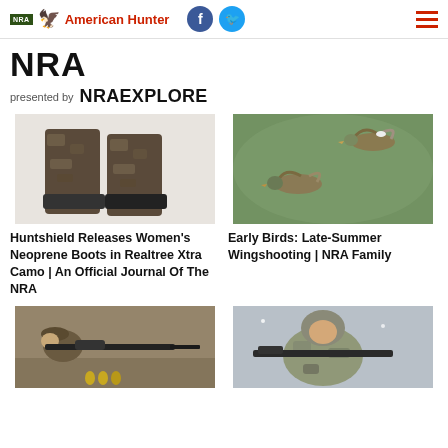NRA American Hunter
NRA
presented by NRAEXPLORE
[Figure (photo): Camouflage neoprene hunting boots (Realtree Xtra camo pattern) standing upright against white background]
[Figure (photo): Two ducks in flight against a green blurred background, photographed from behind/side angle]
Huntshield Releases Women's Neoprene Boots in Realtree Xtra Camo | An Official Journal Of The NRA
Early Birds: Late-Summer Wingshooting | NRA Family
[Figure (photo): Person in camouflage gear and hat aiming a scoped rifle, lying prone in a field]
[Figure (photo): Person in winter camouflage gear holding a rifle in snowy/wintry conditions]